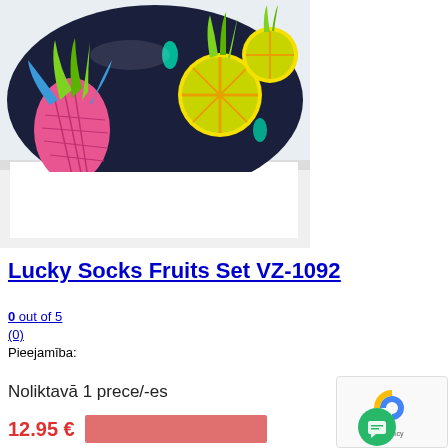[Figure (photo): Product photo of Lucky Socks Fruits Set VZ-1092 — rolled socks with colorful pineapple and fruit pattern on dark navy background, displayed in a white box]
Lucky Socks Fruits Set VZ-1092
0 out of 5
(0)
Pieejamība:
Noliktavā 1 prece/-es
12.95 €